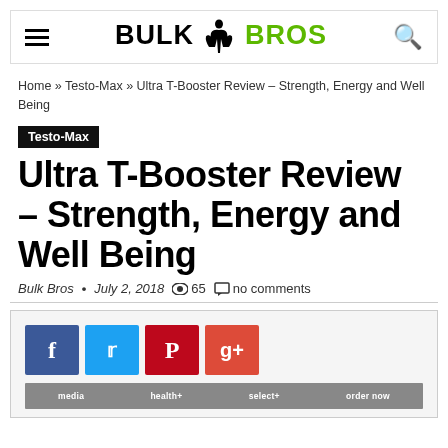BULK BROS
Home » Testo-Max » Ultra T-Booster Review – Strength, Energy and Well Being
Testo-Max
Ultra T-Booster Review – Strength, Energy and Well Being
Bulk Bros • July 2, 2018  65  no comments
[Figure (infographic): Social share buttons: Facebook, Twitter, Pinterest, Google+]